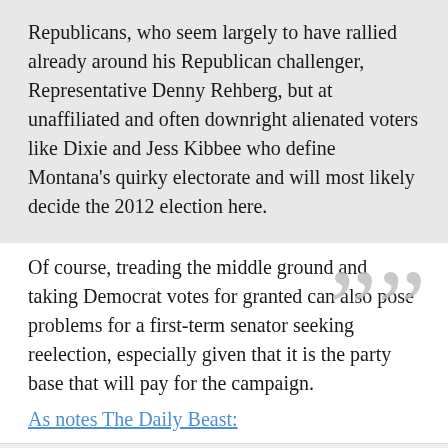Republicans, who seem largely to have rallied already around his Republican challenger, Representative Denny Rehberg, but at unaffiliated and often downright alienated voters like Dixie and Jess Kibbee who define Montana's quirky electorate and will most likely decide the 2012 election here.
Of course, treading the middle ground and taking Democrat votes for granted can also pose problems for a first-term senator seeking reelection, especially given that it is the party base that will pay for the campaign.
As notes The Daily Beast:
But Tester, who was elected with strong support from